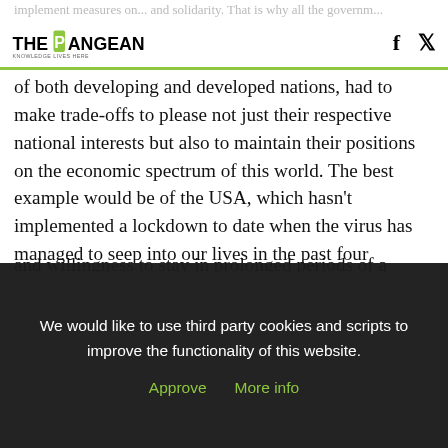THE PANGEAN [logo] [Facebook] [Twitter]
of both developing and developed nations, had to make trade-offs to please not just their respective national interests but also to maintain their positions on the economic spectrum of this world. The best example would be of the USA, which hasn't implemented a lockdown to date when the virus has managed to seep into our lives in the past four months. The USA, under President Trump, has found itself valuing the economy more than its own people and their lives. New York has seen a surge in the numbers of positive testing patients and thousands and willingness to stay in prolonged periods of a
We would like to use third party cookies and scripts to improve the functionality of this website.
Approve   More info